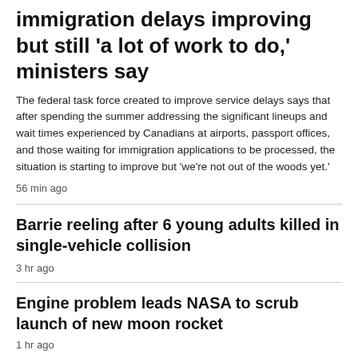immigration delays improving but still 'a lot of work to do,' ministers say
The federal task force created to improve service delays says that after spending the summer addressing the significant lineups and wait times experienced by Canadians at airports, passport offices, and those waiting for immigration applications to be processed, the situation is starting to improve but 'we're not out of the woods yet.'
56 min ago
Barrie reeling after 6 young adults killed in single-vehicle collision
3 hr ago
Engine problem leads NASA to scrub launch of new moon rocket
1 hr ago